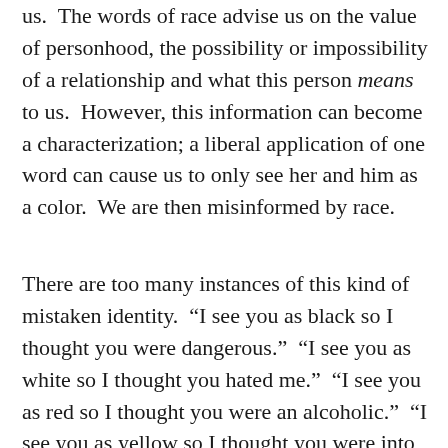us.  The words of race advise us on the value of personhood, the possibility or impossibility of a relationship and what this person means to us.  However, this information can become a characterization; a liberal application of one word can cause us to only see her and him as a color.  We are then misinformed by race.
There are too many instances of this kind of mistaken identity.  “I see you as black so I thought you were dangerous.”  “I see you as white so I thought you hated me.”  “I see you as red so I thought you were an alcoholic.”  “I see you as yellow so I thought you were into computers or good at math.”  “I see you as beige